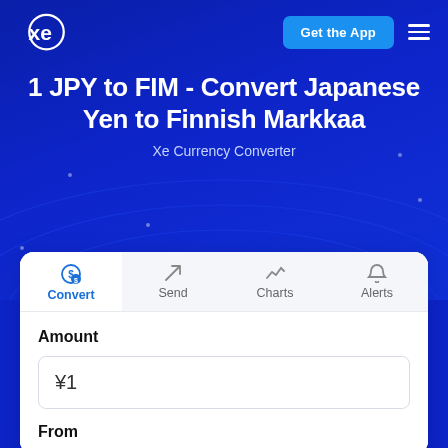[Figure (logo): XE currency converter logo in white on dark blue background]
1 JPY to FIM - Convert Japanese Yen to Finnish Markkaa
Xe Currency Converter
Convert
Send
Charts
Alerts
Amount
¥1
From